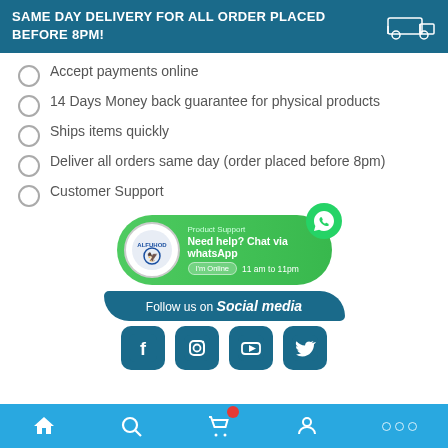[Figure (infographic): Dark blue banner with white bold text: SAME DAY DELIVERY FOR ALL ORDER PLACED BEFORE 8PM! with a delivery truck icon on the right]
Accept payments online
14 Days Money back guarantee for physical products
Ships items quickly
Deliver all orders same day (order placed before 8pm)
Customer Support
[Figure (infographic): WhatsApp support card with Alfuhod logo, green background, text: Product Support, Need help? Chat via whatsApp, I'm Online, 11 am to 11pm, with WhatsApp icon]
[Figure (infographic): Follow us on Social media banner in dark teal/blue brushstroke style with social media icons: Facebook, Instagram, YouTube, Twitter]
[Figure (infographic): Bottom navigation bar in blue with home, search, cart (with red badge), user, and dots icons]